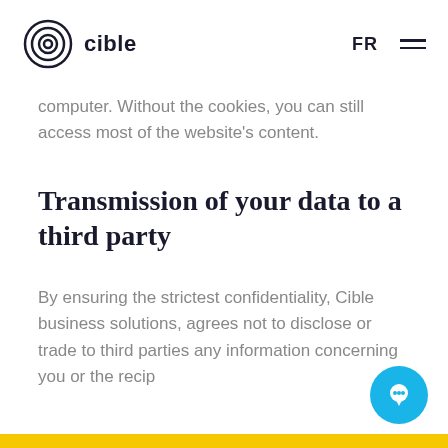cible | FR
computer. Without the cookies, you can still access most of the website's content.
Transmission of your data to a third party
By ensuring the strictest confidentiality, Cible business solutions, agrees not to disclose or trade to third parties any information concerning you or the recip